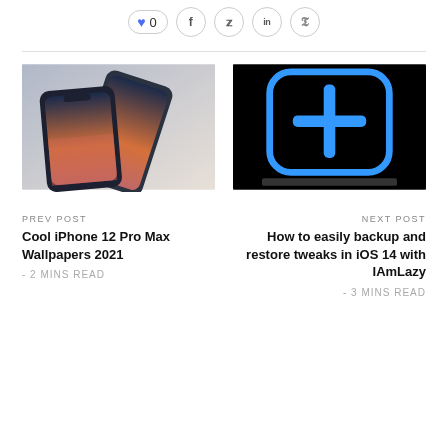[Figure (other): Social sharing bar with like button (heart, 0), Facebook, Twitter, LinkedIn, Pinterest icons]
[Figure (photo): iPhone 12 Pro Max shown at an angle with a scenic wallpaper on screen]
PREV POST
Cool iPhone 12 Pro Max Wallpapers 2021
- 2 MINS READ
[Figure (screenshot): Black background with a blue rounded-square plus icon, IAmLazy app logo]
NEXT POST
How to easily backup and restore tweaks in iOS 14 with IAmLazy
- 3 MINS READ